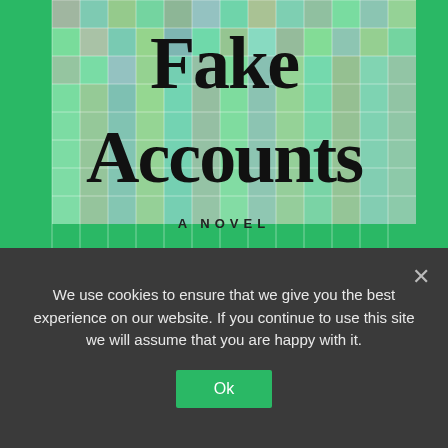[Figure (illustration): Book cover of 'Fake Accounts: A Novel' by Lauren Oyler. Green background with a colorful iridescent grid/check pattern overlay. Large serif black text reads 'Fake Accounts' with 'A NOVEL' in small caps below.]
‘High Maintenance’s Ben Sinclair To Adapt Lauren Oyler’s ‘Fake Accounts’ For...
We use cookies to ensure that we give you the best experience on our website. If you continue to use this site we will assume that you are happy with it.